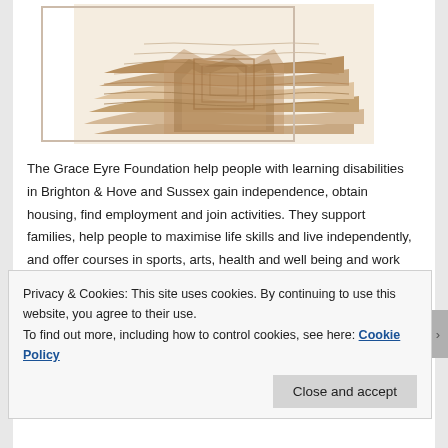[Figure (illustration): Abstract sandy/terracotta coloured illustration showing layered topographic or sculptural patterns with curved and angular forms, possibly a stylised landscape or textile pattern.]
The Grace Eyre Foundation help people with learning disabilities in Brighton & Hove and Sussex gain independence, obtain housing, find employment and join activities. They support families, help people to maximise life skills and live independently, and offer courses in sports, arts, health and well being and work training. This dynamic organisation came from the progressive ideas of a Hove born woman, Grace Eyre Woodhouse (1864 – 1936) who swam against the tide at a time when children with learning disabilities were sidelined, institutionalised
Privacy & Cookies: This site uses cookies. By continuing to use this website, you agree to their use.
To find out more, including how to control cookies, see here: Cookie Policy
Close and accept